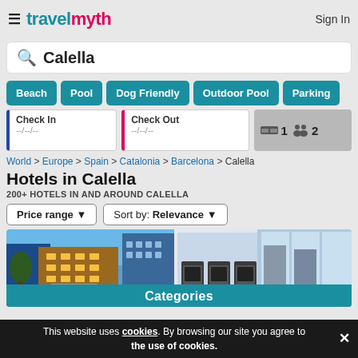travelmyth  Sign In
Calella
Beach
Pool
Dog Friendly
Outdoor Pool
Parking
Check In --/--/--
Check Out --/--/--
1  2
World > Europe > Spain > Catalonia > Barcelona > Calella
Hotels in Calella
200+ HOTELS IN AND AROUND CALELLA
Price range ▾   Sort by: Relevance ▾
[Figure (photo): Hotel exterior at night with warm lighting and a gym interior with treadmills]
Categories
This website uses cookies. By browsing our site you agree to the use of cookies.